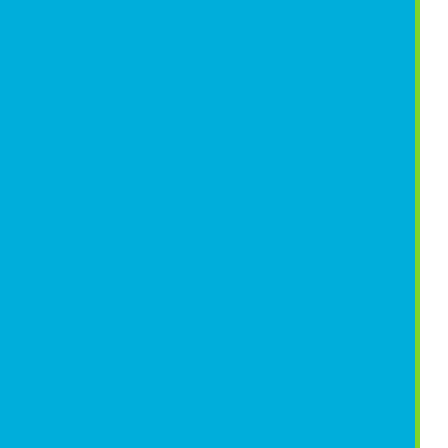extended in Latin or in German, never comprehended these languages for the more friendly Italian and French (which also rendered music an exclusive interest not even all of them). The public was finally able to de pronounced, the story beyond the music was intel toward laical themes "de-sacralised" music, allowing mere entertainment".

Most of these facts regard opera in general, but O difficult to adopt a formalist scheme for a classifica ever deny the serious content and value of some usually ascribed to its kind, even when they decla than expressedly an "Opera buffa", and we genera distinctive element has therefore to be considered with the many singularities that each work showed Certainly, while Opera seria dealt with mythical su and only episodically contained comic scenes, Op important part, and sometimes the reason for the direction of public, so what could be more approp common people could have enjoyed? Comic stori the times) of music for entertainment.

In some of the Opere buffa, a language was used in the local dialect, and used caricatures that were It is sometimes affirmed that in Opera buffa music limited in length and in fantasy, and these would b higher genres. Nevertheless, the (now) not discus